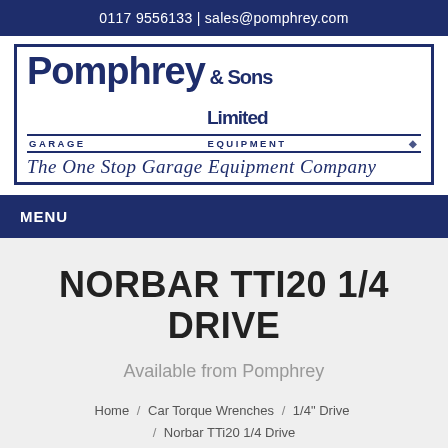0117 9556133 | sales@pomphrey.com
[Figure (logo): Pomphrey & Sons Limited - Garage Equipment logo with tagline 'The One Stop Garage Equipment Company']
MENU
NORBAR TTI20 1/4 DRIVE
Available from Pomphrey
Home / Car Torque Wrenches / 1/4" Drive / Norbar TTi20 1/4 Drive